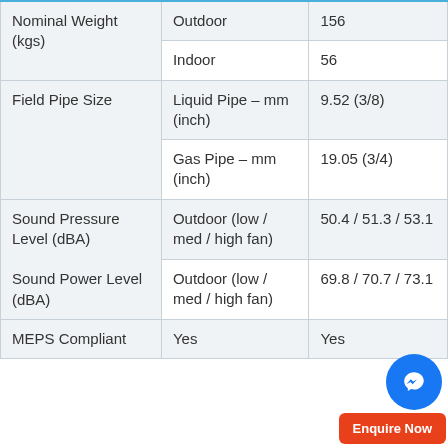|  |  |  |
| --- | --- | --- |
| Nominal Weight (kgs) | Outdoor | 156 |
|  | Indoor | 56 |
| Field Pipe Size | Liquid Pipe – mm (inch) | 9.52 (3/8) |
|  | Gas Pipe – mm (inch) | 19.05 (3/4) |
| Sound Pressure Level (dBA)

Sound Power Level (dBA) | Outdoor (low / med / high fan) | 50.4 / 51.3 / 53.1 |
|  | Outdoor (low / med / high fan) | 69.8 / 70.7 / 73.1 |
| MEPS Compliant | Yes | Yes |